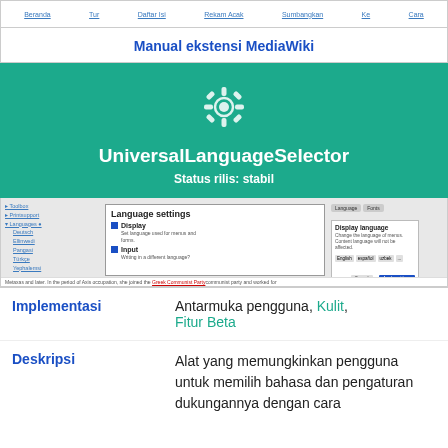Manual ekstensi MediaWiki
UniversalLanguageSelector
Status rilis: stabil
[Figure (screenshot): Screenshot of the UniversalLanguageSelector extension showing Language settings dialog with Display and Input sections, language tabs, and display language options including English, espanol, uzbek.]
Implementasi
Antarmuka pengguna, Kulit, Fitur Beta
Deskripsi
Alat yang memungkinkan pengguna untuk memilih bahasa dan pengaturan dukungannya dengan cara